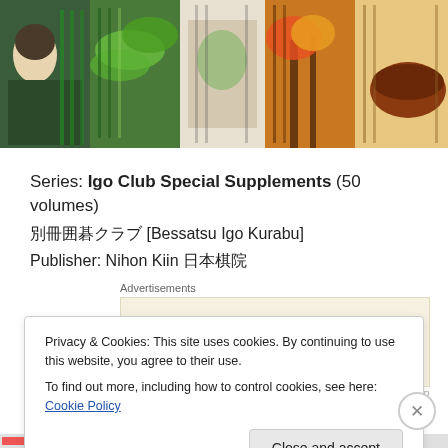[Figure (photo): Strip of Japanese book covers with illustrated artwork including a woman's face, green foliage, Japanese text, trees, and a bowl]
Series: Igo Club Special Supplements (50 volumes)
別冊囲碁クラブ [Bessatsu Igo Kurabu]
Publisher: Nihon Kiin 日本棋院
[Figure (screenshot): WordPress advertisement: Professionally designed sites in less than a week]
No. 1 Find the Next Move Masterpieces (1974)
Privacy & Cookies: This site uses cookies. By continuing to use this website, you agree to their use.
To find out more, including how to control cookies, see here: Cookie Policy